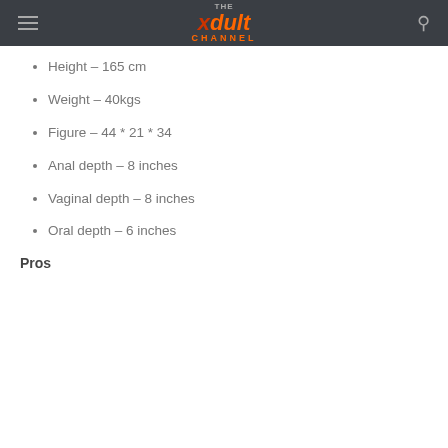THE xdult CHANNEL
Height – 165 cm
Weight – 40kgs
Figure – 44 * 21 * 34
Anal depth – 8 inches
Vaginal depth – 8 inches
Oral depth – 6 inches
Pros